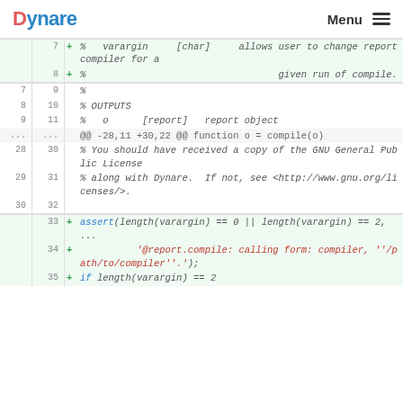Dynare  Menu
Code diff viewer showing lines 7-35 of a MATLAB/Octave source file with additions and context lines.